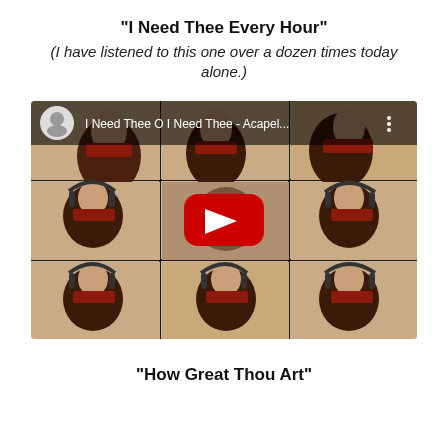“I Need Thee Every Hour”
(I have listened to this one over a dozen times today alone.)
[Figure (screenshot): YouTube video thumbnail showing a grid of 9 panels of a person with curly hair and headphones singing acapella, with a YouTube play button overlay and title bar reading 'I Need Thee O I Need Thee - Acapel...']
“How Great Thou Art”